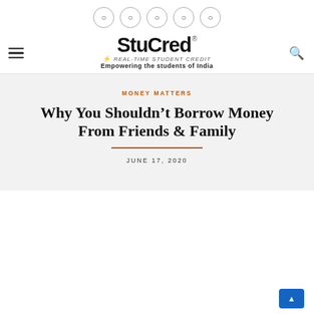StuCred - Real-Time Student Credit - Empowering the students of India
MONEY MATTERS
Why You Shouldn't Borrow Money From Friends & Family
JUNE 17, 2020